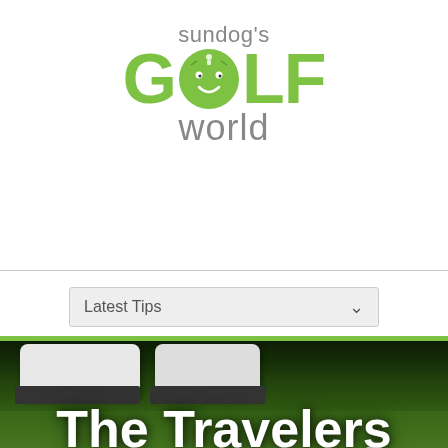[Figure (logo): Sundog's Golf World logo with green GOLF text and cartoon face replacing the O]
[Figure (screenshot): Dropdown menu labeled 'Latest Tips' with a chevron arrow on a website navigation bar]
[Figure (photo): Photo of golf shoes on green grass with a golf ball, overlaid with large white bold text reading 'The Travelers Championship']
[Figure (screenshot): Gray scroll-to-top circular button with upward triangle arrow at bottom right]